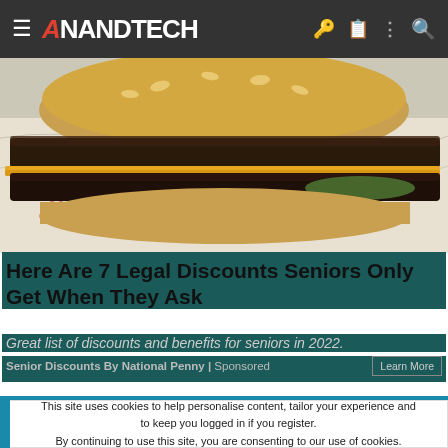AnandTech
[Figure (photo): Close-up photo of a double cheeseburger wrapped in white paper with red text markings, showing two beef patties with melted cheese and pickle, sesame seed bun]
Here Are 7 Legal Discounts Seniors Only Get When They Ask
Great list of discounts and benefits for seniors in 2022.
Senior Discounts By National Penny | Sponsored
This site uses cookies to help personalise content, tailor your experience and to keep you logged in if you register.
By continuing to use this site, you are consenting to our use of cookies.